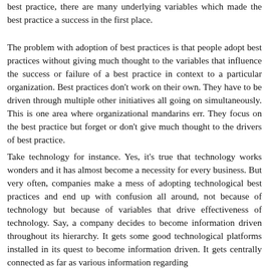best practice, there are many underlying variables which made the best practice a success in the first place.
The problem with adoption of best practices is that people adopt best practices without giving much thought to the variables that influence the success or failure of a best practice in context to a particular organization. Best practices don't work on their own. They have to be driven through multiple other initiatives all going on simultaneously. This is one area where organizational mandarins err. They focus on the best practice but forget or don't give much thought to the drivers of best practice.
Take technology for instance. Yes, it's true that technology works wonders and it has almost become a necessity for every business. But very often, companies make a mess of adopting technological best practices and end up with confusion all around, not because of technology but because of variables that drive effectiveness of technology. Say, a company decides to become information driven throughout its hierarchy. It gets some good technological platforms installed in its quest to become information driven. It gets centrally connected as far as various information regarding